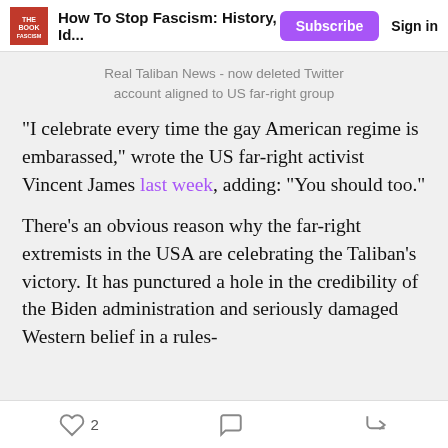How To Stop Fascism: History, Id...  Subscribe  Sign in
Real Taliban News - now deleted Twitter account aligned to US far-right group
"I celebrate every time the gay American regime is embarassed," wrote the US far-right activist Vincent James last week, adding: "You should too."
There's an obvious reason why the far-right extremists in the USA are celebrating the Taliban's victory. It has punctured a hole in the credibility of the Biden administration and seriously damaged Western belief in a rules-
2  [comment]  [share]